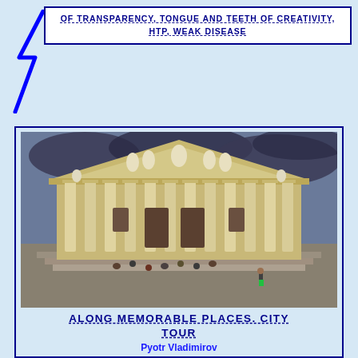OF TRANSPARENCY, TONGUE AND TEETH OF CREATIVITY, HTP, WEAK DISEASE
[Figure (photo): Neoclassical building with large columns and a triangular pediment with statues, people sitting on the steps in front]
ALONG MEMORABLE PLACES. CITY TOUR
Pyotr Vladimirov